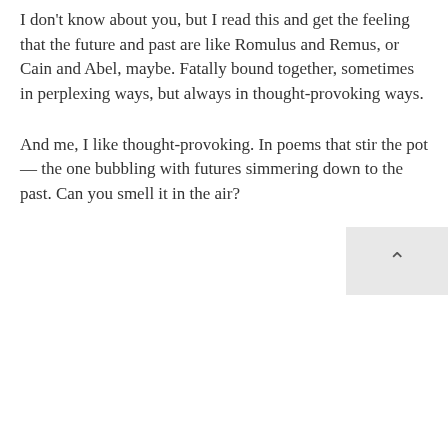I don't know about you, but I read this and get the feeling that the future and past are like Romulus and Remus, or Cain and Abel, maybe. Fatally bound together, sometimes in perplexing ways, but always in thought-provoking ways.
And me, I like thought-provoking. In poems that stir the pot — the one bubbling with futures simmering down to the past. Can you smell it in the air?
[Figure (other): A small back-to-top button with an upward caret arrow symbol, positioned in the bottom-right corner of the page]